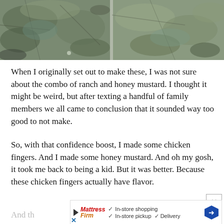[Figure (photo): Close-up photo of textured bark or rock surface with mottled blue-green, brown, and gray tones, split into two panels side by side]
When I originally set out to make these, I was not sure about the combo of ranch and honey mustard. I thought it might be weird, but after texting a handful of family members we all came to conclusion that it sounded way too good to not make.
So, with that confidence boost, I made some chicken fingers. And I made some honey mustard. And oh my gosh, it took me back to being a kid. But it was better. Because these chicken fingers actually have flavor.
And th
[Figure (screenshot): Advertisement banner for Mattress Firm showing in-store shopping, in-store pickup, and delivery options with a blue hexagonal arrow icon and a close X button]